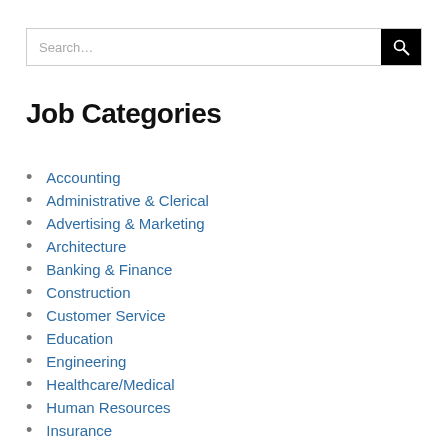[Figure (other): Search bar with text input placeholder 'Search...' and a black search button with magnifying glass icon]
Job Categories
Accounting
Administrative & Clerical
Advertising & Marketing
Architecture
Banking & Finance
Construction
Customer Service
Education
Engineering
Healthcare/Medical
Human Resources
Insurance